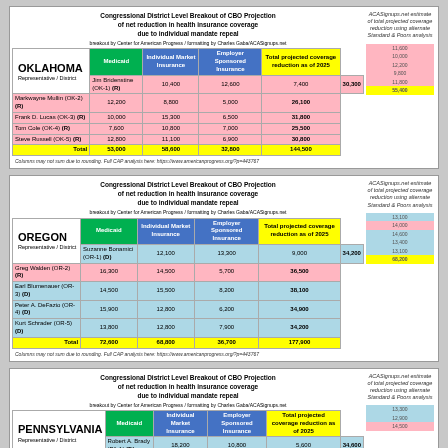Congressional District Level Breakout of CBO Projection of net reduction in health insurance coverage due to individual mandate repeal
| Representative / District | Medicaid | Individual Market Insurance | Employer Sponsored Insurance | Total projected coverage reduction as of 2025 |
| --- | --- | --- | --- | --- |
| Jim Bridenstine (OK-1) (R) | 10,400 | 12,600 | 7,400 | 30,300 |
| Markwayne Mullin (OK-2) (R) | 12,200 | 8,800 | 5,000 | 26,100 |
| Frank D. Lucas (OK-3) (R) | 10,000 | 15,300 | 6,500 | 31,800 |
| Tom Cole (OK-4) (R) | 7,600 | 10,800 | 7,000 | 25,500 |
| Steve Russell (OK-5) (R) | 12,800 | 11,100 | 6,900 | 30,800 |
| Total | 53,000 | 58,600 | 32,800 | 144,500 |
Columns may not sum due to rounding. Full CAP analysis here: https://www.americanprogress.org/?p=443767
Congressional District Level Breakout of CBO Projection of net reduction in health insurance coverage due to individual mandate repeal
| Representative / District | Medicaid | Individual Market Insurance | Employer Sponsored Insurance | Total projected coverage reduction as of 2025 |
| --- | --- | --- | --- | --- |
| Suzanne Bonamici (OR-1) (D) | 12,100 | 13,300 | 9,000 | 34,200 |
| Greg Walden (OR-2) (R) | 16,300 | 14,500 | 5,700 | 36,500 |
| Earl Blumenauer (OR-3) (D) | 14,500 | 15,500 | 8,200 | 38,100 |
| Peter A. DeFazio (OR-4) (D) | 15,900 | 12,800 | 6,200 | 34,900 |
| Kurt Schrader (OR-5) (D) | 13,800 | 12,800 | 7,900 | 34,200 |
| Total | 72,600 | 68,800 | 36,700 | 177,900 |
Columns may not sum due to rounding. Full CAP analysis here: https://www.americanprogress.org/?p=443767
Congressional District Level Breakout of CBO Projection of net reduction in health insurance coverage due to individual mandate repeal
| Representative / District | Medicaid | Individual Market Insurance | Employer Sponsored Insurance | Total projected coverage reduction as of 2025 |
| --- | --- | --- | --- | --- |
| Robert A. Brady (PA-1) (D) | 18,200 | 10,800 | 5,600 | 34,600 |
| Dwight Evans (PA-2) (D) | 15,500 | 12,500 | 5,800 | 33,700 |
| Mike Kelly (PA-3) (R) | ... | ... | ... | 37,500 |